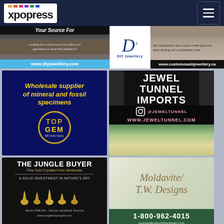xpopress
[Figure (advertisement): DIY Jewellery banner ad with www.diyjewellery.com and www.custommadejewellery.ca, featuring semi-mount jewellery text and D logo]
[Figure (advertisement): Top Gem Minerals - Wholesale supplier of mineral and fossil specimens, dark blue background with gold circular logo]
[Figure (advertisement): Jewel Tunnel Imports - @JEWELTUNNEL, WWW.JEWELTUNNEL.COM, black background with crystal imagery]
[Figure (advertisement): The Jungle Buyer - Fine Gold Crystals From Venezuela, A Solid Investment in Nature's Art, Booth FSB.520 - Denver HardRock Summit, www.junglebuyergold.com]
[Figure (advertisement): Moldavite / T.W. Designs - 1-800-962-4015 - moldavitedirect@hotmail.com]